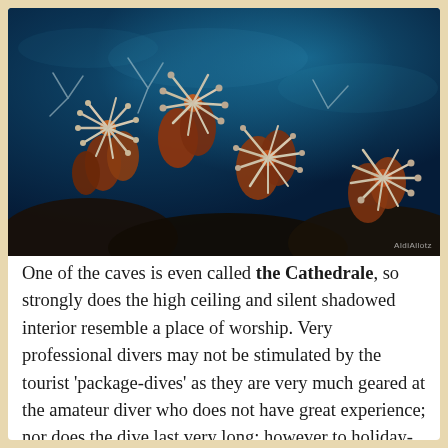[Figure (photo): Underwater photograph of white sea anemones with feathery tentacles against a dark blue ocean background with orange-brown coral structures]
One of the caves is even called the Cathedrale, so strongly does the high ceiling and silent shadowed interior resemble a place of worship. Very professional divers may not be stimulated by the tourist 'package-dives' as they are very much geared at the amateur diver who does not have great experience; nor does the dive last very long; however to holiday-makers wanting a